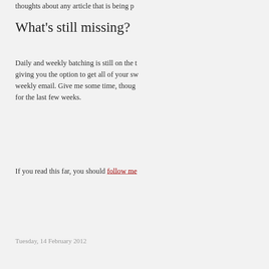thoughts about any article that is being p
What's still missing?
Daily and weekly batching is still on the to giving you the option to get all of your sw weekly email. Give me some time, thou for the last few weeks.
If you read this far, you should follow me
Tuesday, 14 February 2012
→ What&#39;s the use of stor
→ First tim
→ Startup Skil